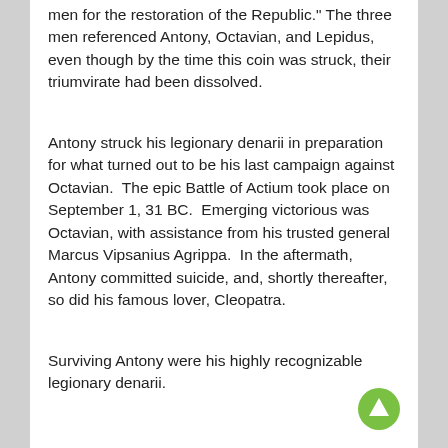men for the restoration of the Republic." The three men referenced Antony, Octavian, and Lepidus, even though by the time this coin was struck, their triumvirate had been dissolved.
Antony struck his legionary denarii in preparation for what turned out to be his last campaign against Octavian. The epic Battle of Actium took place on September 1, 31 BC. Emerging victorious was Octavian, with assistance from his trusted general Marcus Vipsanius Agrippa. In the aftermath, Antony committed suicide, and, shortly thereafter, so did his famous lover, Cleopatra.
Surviving Antony were his highly recognizable legionary denarii. Most coins are considered highly...